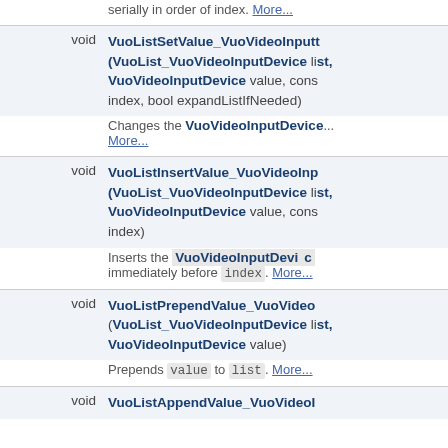serially in order of index. More...
void VuoListSetValue_VuoVideoInputDevice (VuoList_VuoVideoInputDevice list, VuoVideoInputDevice value, const VuoInteger index, bool expandListIfNeeded)
Changes the VuoVideoInputDevice... More...
void VuoListInsertValue_VuoVideoInputDevice (VuoList_VuoVideoInputDevice list, VuoVideoInputDevice value, const VuoInteger index)
Inserts the VuoVideoInputDevice immediately before index. More...
void VuoListPrependValue_VuoVideoInputDevice (VuoList_VuoVideoInputDevice list, VuoVideoInputDevice value)
Prepends value to list. More...
void VuoListAppendValue_VuoVideoInputDevice